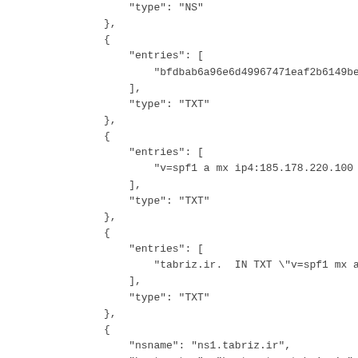"type": "NS"
},
{
    "entries": [
        "bfdbab6a96e6d49967471eaf2b6149beac448c9528"
    ],
    "type": "TXT"
},
{
    "entries": [
        "v=spf1 a mx ip4:185.178.220.100 ~all"
    ],
    "type": "TXT"
},
{
    "entries": [
        "tabriz.ir.  IN TXT \"v=spf1 mx a ip4:185."
    ],
    "type": "TXT"
},
{
    "nsname": "ns1.tabriz.ir",
    "hostmaster": "hostmaster.tabriz.ir",
    "serial": 2017122316,
    "refresh": 3600,
    "retry": 600,
    "expire": 1209600,
    "minttl": 86400,